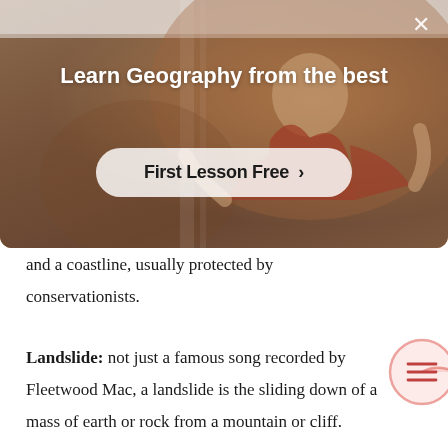[Figure (screenshot): Promotional banner overlay showing a person in a red outfit in a room, with text 'Learn Geography from the best' and a 'First Lesson Free >' call-to-action button, and an X close button in top-right corner.]
and a coastline, usually protected by conservationists.
Landslide: not just a famous song recorded by Fleetwood Mac, a landslide is the sliding down of a mass of earth or rock from a mountain or cliff.
Latitude: imaginary horizontal lines on the Ea... are utilised to specify the north or south position of